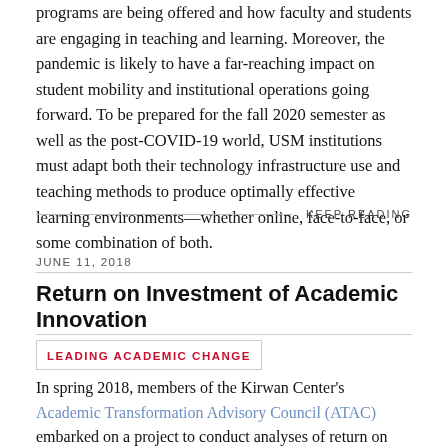programs are being offered and how faculty and students are engaging in teaching and learning. Moreover, the pandemic is likely to have a far-reaching impact on student mobility and institutional operations going forward. To be prepared for the fall 2020 semester as well as the post-COVID-19 world, USM institutions must adapt both their technology infrastructure use and teaching methods to produce optimally effective learning environments—whether online, face-to-face, or some combination of both.
KEEP READING
JUNE 11, 2018
Return on Investment of Academic Innovation
LEADING ACADEMIC CHANGE
In spring 2018, members of the Kirwan Center's Academic Transformation Advisory Council (ATAC) embarked on a project to conduct analyses of return on investment (ROI) on academic innovation efforts undertaken around the system. ATAC members